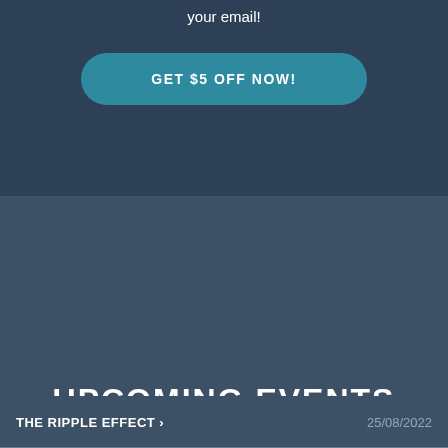your email!
GET $5 OFF NOW!
UPCOMING EVENTS
THE RIPPLE EFFECT ›	25/08/2022